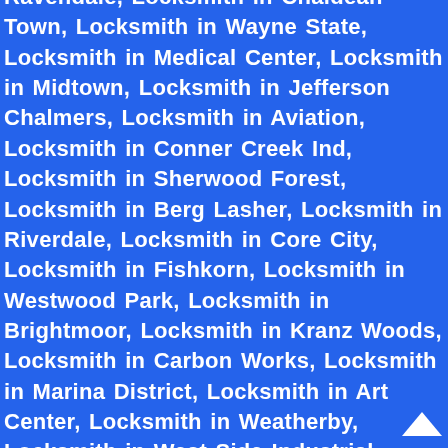Ravendale, Locksmith in Chaldean Town, Locksmith in Wayne State, Locksmith in Medical Center, Locksmith in Midtown, Locksmith in Jefferson Chalmers, Locksmith in Aviation, Locksmith in Conner Creek Ind, Locksmith in Sherwood Forest, Locksmith in Berg Lasher, Locksmith in Riverdale, Locksmith in Core City, Locksmith in Fishkorn, Locksmith in Westwood Park, Locksmith in Brightmoor, Locksmith in Kranz Woods, Locksmith in Carbon Works, Locksmith in Marina District, Locksmith in Art Center, Locksmith in Weatherby, Locksmith in West Side Industrial, Locksmith in Jefferies, Locksmith in Greensbriar, Locksmith in Springwells, Locksmith in Grixdale, Locksmith in Poletown East, Locksmith in Millenium Village, Locksmith in Briggs, Locksmith in New Center, Locksmith in Morningside, Locksmith in Old Redford, Locksmith in Pulaski, Locksmith in Corktown, Locksmith in Grandmont Rosedale, Locksmith in Palmer Woods, Locksmith in Regent Park, Locksmith in Southwest Detroit, Locksmith in Park, Locksmith in McDougall Hunt, Locksmith in Brush Park, Locksmith in Gold Coast, Locksmith in Five Points, Locksmith in Eight Mile Wyoming, Locksmith in Herman Gardens, Locksmith in English Village, Locksmith in Martin Park, Locksmith in West Village, Locksmith in Conant Gardens, Locksmith in Virginia Park, Locksmith in Milwaukee Junction, Locksmith in Alden Park, Locksmith in North Rosedale Park, Locksmith in Rosedale Park, Locksmith in Castle Rouge, Locksmith in Hubbard Richard, Locksmith in University District, Locksmith in Lasalle College Park,